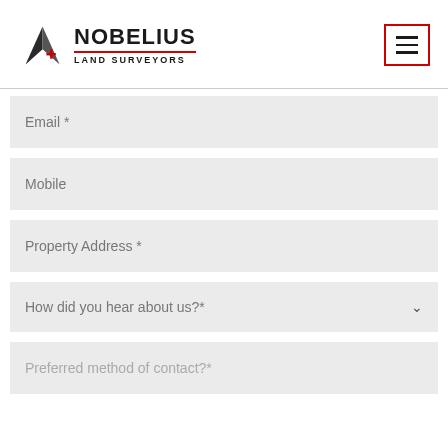[Figure (logo): Nobelius Land Surveyors logo with triangular arrow icon]
Email *
Mobile
Property Address *
How did you hear about us?*
Preferred method of contact?*